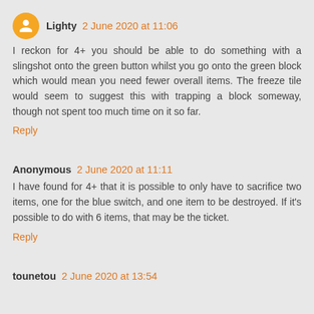Lighty 2 June 2020 at 11:06
I reckon for 4+ you should be able to do something with a slingshot onto the green button whilst you go onto the green block which would mean you need fewer overall items. The freeze tile would seem to suggest this with trapping a block someway, though not spent too much time on it so far.
Reply
Anonymous 2 June 2020 at 11:11
I have found for 4+ that it is possible to only have to sacrifice two items, one for the blue switch, and one item to be destroyed. If it's possible to do with 6 items, that may be the ticket.
Reply
tounetou 2 June 2020 at 13:54